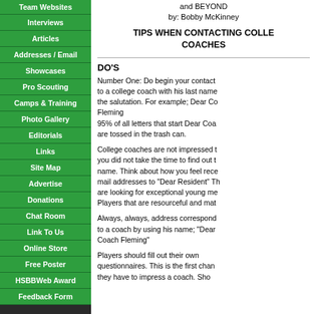Team Websites
Interviews
Articles
Addresses / Email
Showcases
Pro Scouting
Camps & Training
Photo Gallery
Editorials
Links
Site Map
Advertise
Donations
Chat Room
Link To Us
Online Store
Free Poster
HSBBWeb Award
Feedback Form
and BEYOND
by: Bobby McKinney
TIPS WHEN CONTACTING COLLEGE COACHES
DO'S
Number One: Do begin your contact to a college coach with his last name the salutation. For example; Dear Coach Fleming
95% of all letters that start Dear Coach are tossed in the trash can.
College coaches are not impressed that you did not take the time to find out their name. Think about how you feel receiving mail addresses to "Dear Resident" They are looking for exceptional young men. Players that are resourceful and mature.
Always, always, address correspondence to a coach by using his name; "Dear Coach Fleming"
Players should fill out their own questionnaires. This is the first chance they have to impress a coach. Showing